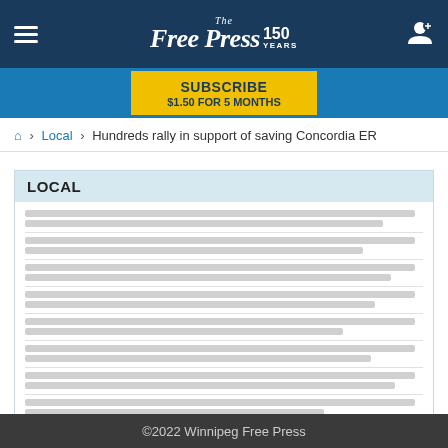The Free Press 150 Years
[Figure (other): SUBSCRIBE $1.50 FOR 5 MONTHS button in yellow on blue bar]
Home > Local > Hundreds rally in support of saving Concordia ER
LOCAL
[Figure (other): Skeleton loading lines representing article list items]
LOAD MORE LOCAL
©2022 Winnipeg Free Press